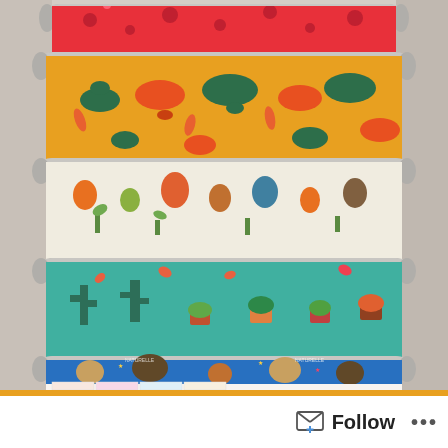[Figure (photo): A display rack holding multiple rolls of colorful printed fabric/wrapping paper. From top to bottom: red roll with polka dot pattern, yellow/orange roll with colorful dinosaurs and carrots, cream/beige roll with jungle animals and cacti on white background, teal/mint roll with cactus and succulent plants in pots, blue roll with animals including giraffes and tigers with text labels, white roll with individual square illustrations (pac-man, woman, UFO, food, sunset, unicorn, sushi), and at the bottom a white roll with illustrated animal portraits wearing clothes (dog in suit, camel, polar bear, pug, dog in hoodie, fox in suit). The rack has horizontal metal rods holding each roll.]
Follow ...